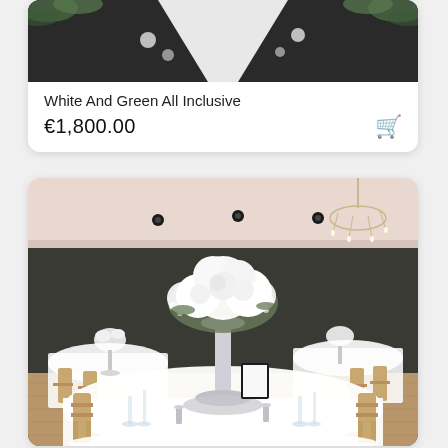[Figure (photo): Top portion of a wedding aisle with white runner and dark floor, floral decorations on sides, partially cropped]
White And Green All Inclusive
€1,800.00
[Figure (photo): Elegant wedding reception hall with white floral centerpiece on tall silver vase on round table, chiavari chairs, chandeliers, dark walls]